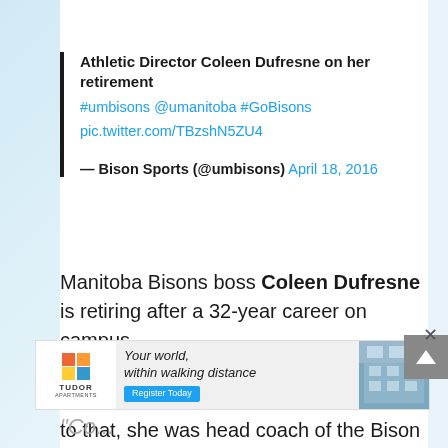Athletic Director Coleen Dufresne on her retirement #umbisons @umanitoba #GoBisons pic.twitter.com/TBzshN5ZU4 — Bison Sports (@umbisons) April 18, 2016
Manitoba Bisons boss Coleen Dufresne is retiring after a 32-year career on campus.
The 63-year-old has served in her current role as athletic director since 2001. Prior to that, she was head coach of the Bison women's basketball program from 1984-01.
[Figure (screenshot): Advertisement banner for Tudor Apartments: 'Your world, within walking distance. Register Today' with colorful logo and building photo.]